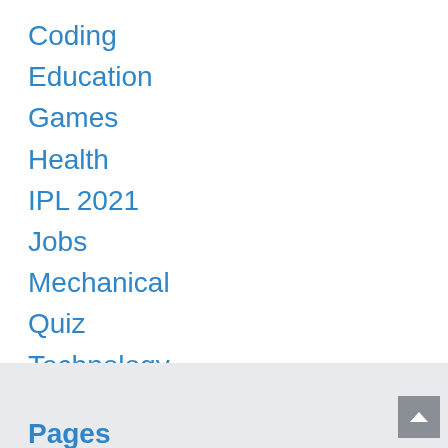Coding
Education
Games
Health
IPL 2021
Jobs
Mechanical
Quiz
Technology
Uncategorized
Pages